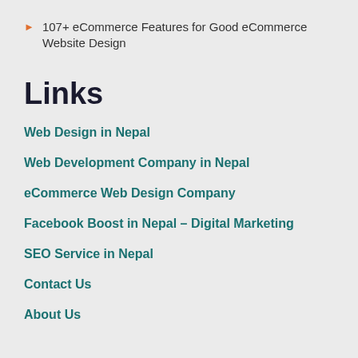107+ eCommerce Features for Good eCommerce Website Design
Links
Web Design in Nepal
Web Development Company in Nepal
eCommerce Web Design Company
Facebook Boost in Nepal – Digital Marketing
SEO Service in Nepal
Contact Us
About Us